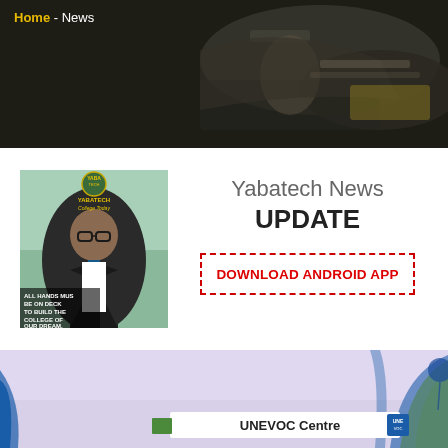Home - News
[Figure (photo): Dark banner header image showing hands writing/signing a document on a desk, with dark overlay]
Home - News
[Figure (photo): Yabatech news magazine cover showing a man in suit with text 'ALL HANDS MUST BE ON DECK TO BUILD THE COLLEGE OF OUR DREAM']
Yabatech News UPDATE
DOWNLOAD ANDROID APP
[Figure (photo): Photo of UNEVOC Centre event with colorful draping and a banner reading UNEVOC Centre]